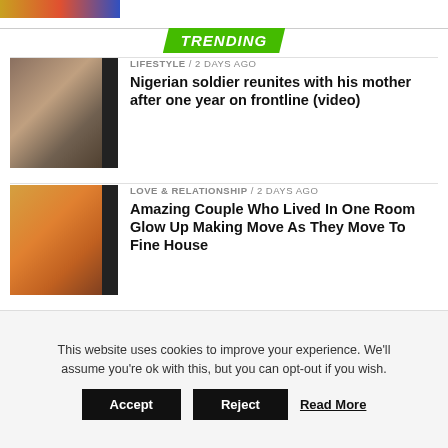TRENDING
[Figure (photo): Nigerian soldier photo with mother]
LIFESTYLE / 2 days ago
Nigerian soldier reunites with his mother after one year on frontline (video)
[Figure (photo): Couple photo in their new house]
LOVE & RELATIONSHIP / 2 days ago
Amazing Couple Who Lived In One Room Glow Up Making Move As They Move To Fine House
[Figure (photo): Deborah case related photo]
CRIME / 2 days ago
“We’re still searching for Deborah’s killers, those arrested are not the suspected killers” – Police Reveals
This website uses cookies to improve your experience. We’ll assume you’re ok with this, but you can opt-out if you wish.